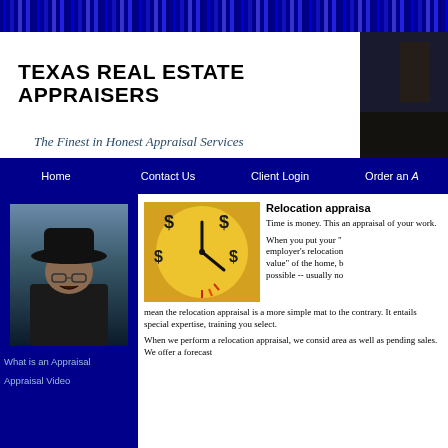TEXAS REAL ESTATE APPRAISERS
The Finest in Honest Appraisal Services
Home | Contact Us | Client Login | Order an A
[Figure (photo): Portrait photo of a man wearing a black cowboy hat and black jacket]
[Figure (photo): Clock face with dollar signs on it representing time is money]
Relocation appraisa
Time is money. This an appraisal of your work.
When you put your "employer's relocation value" of the home, b possible -- usually no mean the relocation appraisal is a more simple mat to the contrary. It entails special expertise, training you select.
When we perform a relocation appraisal, we consid area as well as pending sales. We offer a forecast
What is an Appraisal
Appraisal Video